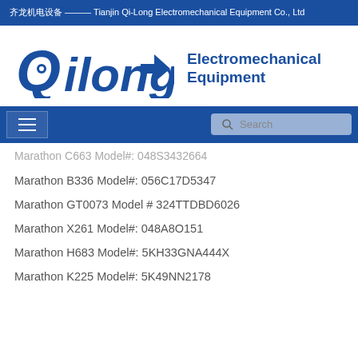齐龙机电设备 ——— Tianjin Qi-Long Electromechanical Equipment Co., Ltd
[Figure (logo): QiLong Electromechanical Equipment company logo in blue]
Marathon C663 Model#: 048S3432664
Marathon B336 Model#: 056C17D5347
Marathon GT0073 Model # 324TTDBD6026
Marathon X261 Model#: 048A8O151
Marathon H683 Model#: 5KH33GNA444X
Marathon K225 Model#: 5K49NN2178